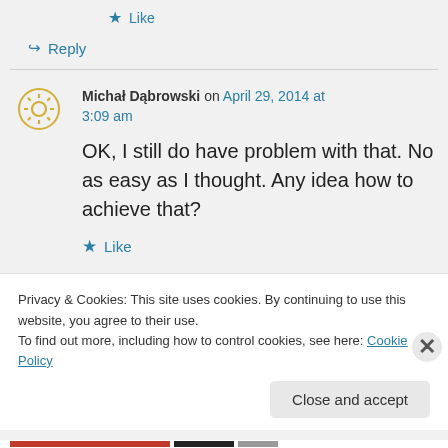★ Like
↪ Reply
Michał Dąbrowski on April 29, 2014 at 3:09 am
OK, I still do have problem with that. No as easy as I thought. Any idea how to achieve that?
★ Like
Privacy & Cookies: This site uses cookies. By continuing to use this website, you agree to their use.
To find out more, including how to control cookies, see here: Cookie Policy